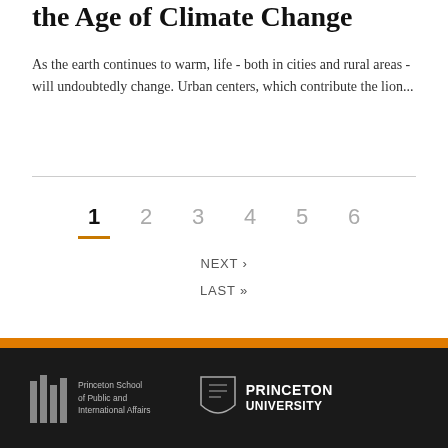the Age of Climate Change
As the earth continues to warm, life - both in cities and rural areas - will undoubtedly change. Urban centers, which contribute the lion...
1 2 3 4 5 6 NEXT › LAST »
Princeton School of Public and International Affairs | Princeton University